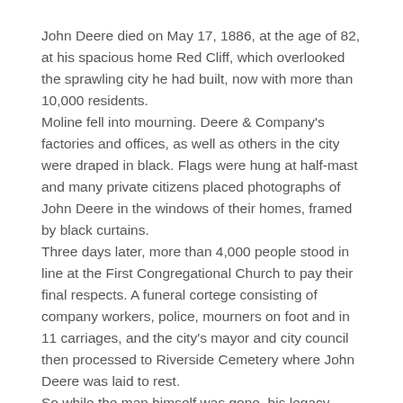John Deere died on May 17, 1886, at the age of 82, at his spacious home Red Cliff, which overlooked the sprawling city he had built, now with more than 10,000 residents.
Moline fell into mourning. Deere & Company's factories and offices, as well as others in the city were draped in black. Flags were hung at half-mast and many private citizens placed photographs of John Deere in the windows of their homes, framed by black curtains.
Three days later, more than 4,000 people stood in line at the First Congregational Church to pay their final respects. A funeral cortege consisting of company workers, police, mourners on foot and in 11 carriages, and the city's mayor and city council then processed to Riverside Cemetery where John Deere was laid to rest.
So while the man himself was gone, his legacy